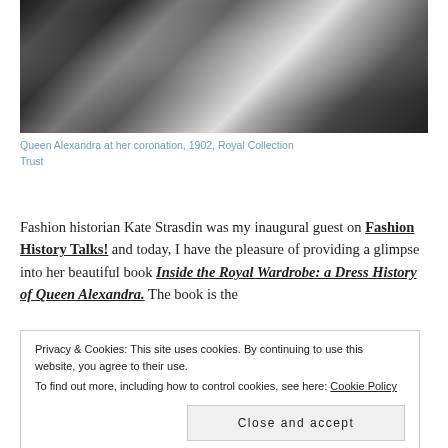[Figure (photo): Black and white close-up photograph of Queen Alexandra's coronation robes/dress, 1902]
Queen Alexandra at her coronation, 1902, Royal Collection Trust
Fashion historian Kate Strasdin was my inaugural guest on Fashion History Talks! and today, I have the pleasure of providing a glimpse into her beautiful book Inside the Royal Wardrobe: a Dress History of Queen Alexandra. The book is the
Privacy & Cookies: This site uses cookies. By continuing to use this website, you agree to their use.
To find out more, including how to control cookies, see here: Cookie Policy
Close and accept